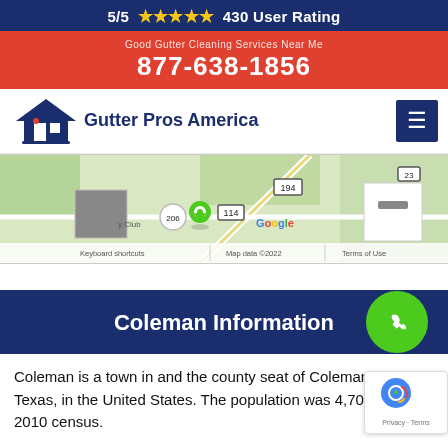5/5 ★★★★★ 430 User Rating
877-638-1856
[Figure (logo): Gutter Pros America logo with house icon and company name]
[Figure (map): Google Maps view showing Coleman area with road 194, 114, 206, and Google branding. Shows keyboard shortcuts and map data copyright 2022.]
Coleman Information
Coleman is a town in and the county seat of Coleman County, Texas, in the United States. The population was 4,709 at the 2010 census.